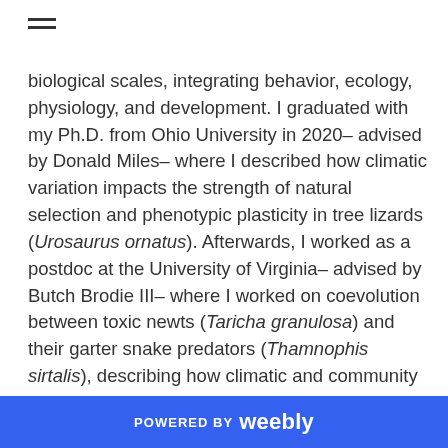[Figure (other): Hamburger menu icon (three horizontal lines)]
biological scales, integrating behavior, ecology, physiology, and development. I graduated with my Ph.D. from Ohio University in 2020– advised by Donald Miles– where I described how climatic variation impacts the strength of natural selection and phenotypic plasticity in tree lizards (Urosaurus ornatus). Afterwards, I worked as a postdoc at the University of Virginia– advised by Butch Brodie III– where I worked on coevolution between toxic newts (Taricha granulosa) and their garter snake predators (Thamnophis sirtalis), describing how climatic and community variation impact coevolutionary interactions between predators and prey. Access to science education and the quality of science education is really important to me, and I hope to have my own lab some day where I can teach biological concepts in unique ways while working with students interested in a variety of evolutionary or ecological questions. If I'm not in the
POWERED BY weebly